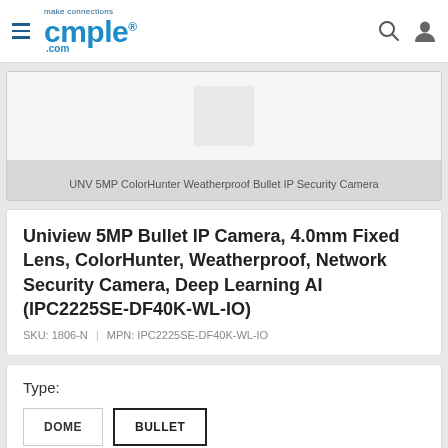cmple.com
UNV 5MP ColorHunter Weatherproof Bullet IP Security Camera
Uniview 5MP Bullet IP Camera, 4.0mm Fixed Lens, ColorHunter, Weatherproof, Network Security Camera, Deep Learning AI (IPC2225SE-DF40K-WL-IO)
SKU: 1806-N  |  MPN: IPC2225SE-DF40K-WL-IO
Type: DOME BULLET